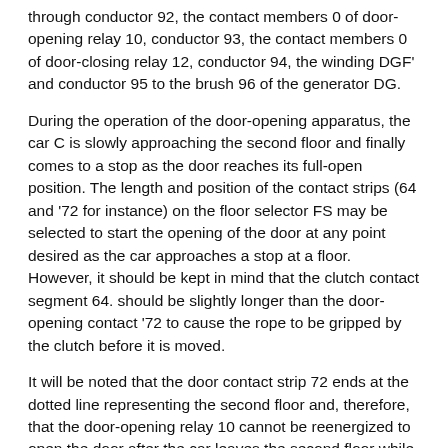through conductor 92, the contact members 0 of door-opening relay 10, conductor 93, the contact members 0 of door-closing relay 12, conductor 94, the winding DGF' and conductor 95 to the brush 96 of the generator DG.
During the operation of the door-opening apparatus, the car C is slowly approaching the second floor and finally comes to a stop as the door reaches its full-open position. The length and position of the contact strips (64 and '72 for instance) on the floor selector FS may be selected to start the opening of the door at any point desired as the car approaches a stop at a floor. However, it should be kept in mind that the clutch contact segment 64. should be slightly longer than the door-opening contact '72 to cause the rope to be gripped by the clutch before it is moved.
It will be noted that the door contact strip 72 ends at the dotted line representing the second floor and, therefore, that the door-opening relay 10 cannot be reenergized to open the door after the car leaves the second floor while descending until it approaches the first floor.
It should also be noted that the clutch 18 will remain energized while the car is standing at the second floor by